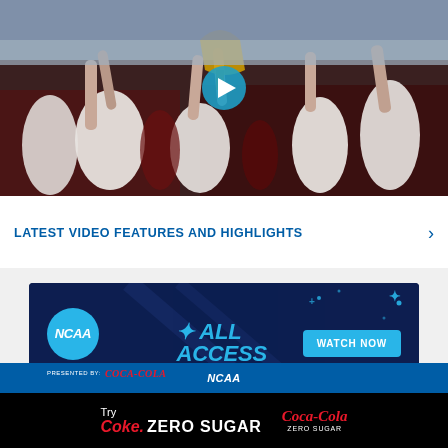[Figure (photo): Sports team celebration photo showing female soccer players raising a trophy, cheering with arms up, wearing white uniforms with number 20 visible, outdoor stadium setting with play button overlay]
LATEST VIDEO FEATURES AND HIGHLIGHTS >
[Figure (infographic): NCAA All Access advertisement banner presented by Coca-Cola with Watch Now button on dark blue background with light blue sparkle decorations]
[Figure (infographic): Try Coke Zero Sugar advertisement on black background with Coca-Cola Zero Sugar logo in red and white text]